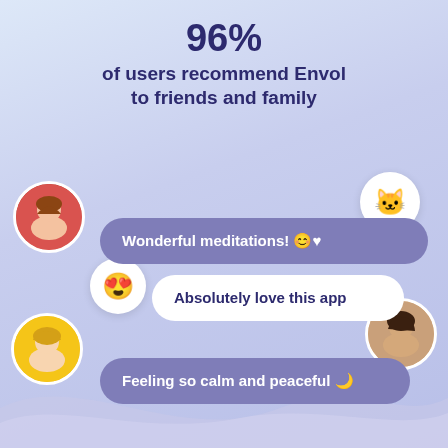96% of users recommend Envol to friends and family
[Figure (infographic): App testimonial infographic with user avatars and chat bubbles showing user reviews. Purple/lavender background with wave at bottom. Three circular user photos (top-left woman on red background, bottom-left woman on yellow background, right-side woman on tan background), cat emoji circle top-right, heart-eyes emoji circle middle-left. Three chat bubbles: purple bubble 'Wonderful meditations! 😊♥', white bubble 'Absolutely love this app', purple bubble 'Feeling so calm and peaceful 🌙']